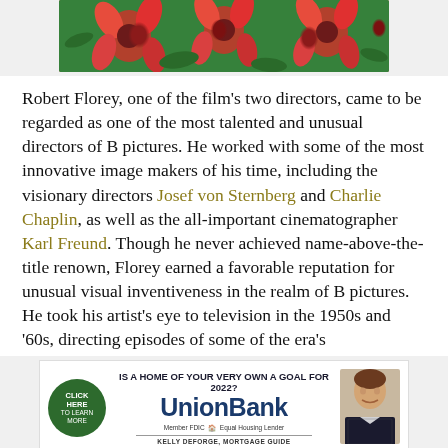[Figure (photo): Red/pink coneflowers (echinacea) in bloom, viewed from above, against green foliage background]
Robert Florey, one of the film's two directors, came to be regarded as one of the most talented and unusual directors of B pictures. He worked with some of the most innovative image makers of his time, including the visionary directors Josef von Sternberg and Charlie Chaplin, as well as the all-important cinematographer Karl Freund. Though he never achieved name-above-the-title renown, Florey earned a favorable reputation for unusual visual inventiveness in the realm of B pictures. He took his artist's eye to television in the 1950s and '60s, directing episodes of some of the era's
[Figure (photo): Union Bank advertisement. Headline: IS A HOME OF YOUR VERY OWN A GOAL FOR 2022? Features Union Bank logo, click here to learn more button, Member FDIC Equal Housing Lender text, and Kelly Deforge Mortgage Guide with photo.]